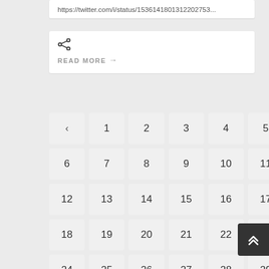https://twitter.com/i/status/1536141801312202753...
[Figure (other): Share icon (less-than style share symbol)]
READ MORE →
< 1 2 3 4 5
6 7 8 9 10 11
12 13 14 15 16 17
18 19 20 21 22 23
24 25 26 27 28 29
30 31 32 33 34 35
36 37 38 39 40 41